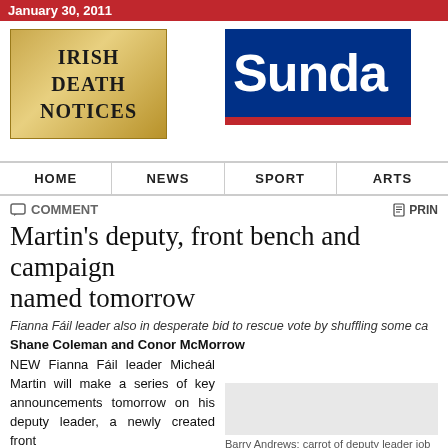January 30, 2011
[Figure (logo): Irish Death Notices logo — gold gradient background with serif text]
[Figure (logo): Sunday [Tribune/Times] newspaper logo — blue rectangle with white bold sans-serif text, red underline bar]
HOME | NEWS | SPORT | ARTS
COMMENT
PRINT
Martin's deputy, front bench and campaign named tomorrow
Fianna Fáil leader also in desperate bid to rescue vote by shuffling some ca
Shane Coleman and Conor McMorrow
NEW Fianna Fáil leader Micheál Martin will make a series of key announcements tomorrow on his deputy leader, a newly created front
Barry Andrews: carrot of deputy leader job